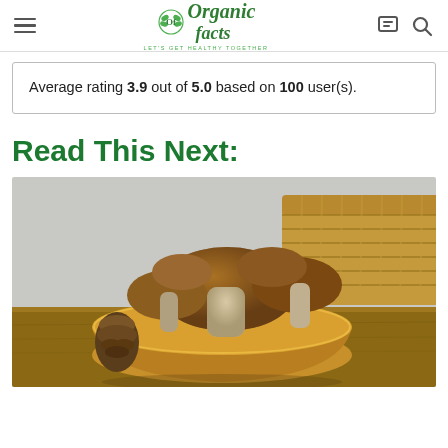Organic Facts — LET'S GET HEALTHY TOGETHER
Average rating 3.9 out of 5.0 based on 100 user(s).
Read This Next:
[Figure (photo): Porcini mushrooms piled in a wooden bowl on a rustic wooden table, with a wicker basket in the background and a pine cone visible to the left.]